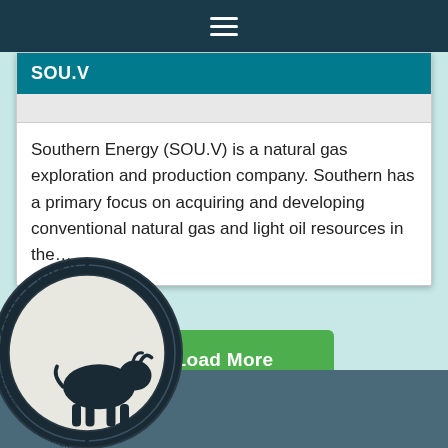≡
SOU.V
Southern Energy (SOU.V) is a natural gas exploration and production company. Southern has a primary focus on acquiring and developing conventional natural gas and light oil resources in the…
Load More
[Figure (logo): Equity Guru circular logo with bull silhouette]